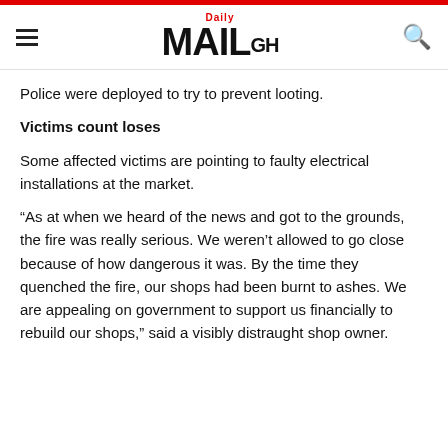Daily MAIL GH
Police were deployed to try to prevent looting.
Victims count loses
Some affected victims are pointing to faulty electrical installations at the market.
“As at when we heard of the news and got to the grounds, the fire was really serious. We weren’t allowed to go close because of how dangerous it was. By the time they quenched the fire, our shops had been burnt to ashes. We are appealing on government to support us financially to rebuild our shops,” said a visibly distraught shop owner.